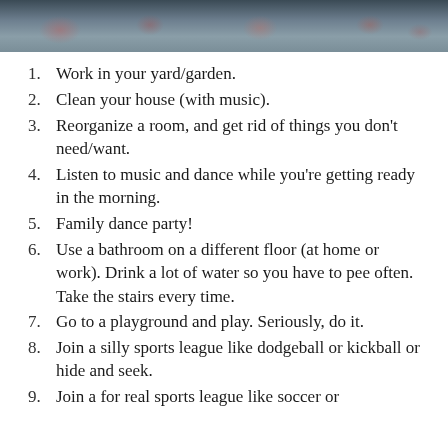[Figure (photo): Banner photo at top of page showing people or objects, appears to be a group activity shot with reddish/pink tones against a darker background]
Work in your yard/garden.
Clean your house (with music).
Reorganize a room, and get rid of things you don't need/want.
Listen to music and dance while you're getting ready in the morning.
Family dance party!
Use a bathroom on a different floor (at home or work). Drink a lot of water so you have to pee often. Take the stairs every time.
Go to a playground and play. Seriously, do it.
Join a silly sports league like dodgeball or kickball or hide and seek.
Join a for real sports league like soccer or